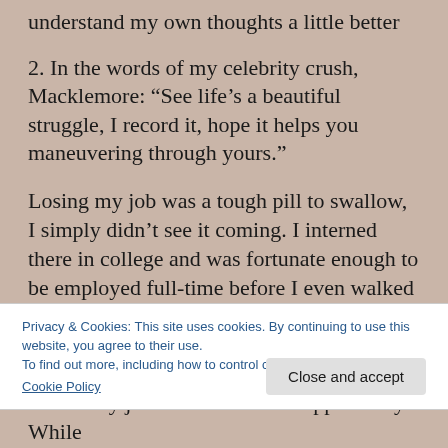understand my own thoughts a little better
2. In the words of my celebrity crush, Macklemore: “See life’s a beautiful struggle, I record it, hope it helps you maneuvering through yours.”
Losing my job was a tough pill to swallow, I simply didn’t see it coming. I interned there in college and was fortunate enough to be employed full-time before I even walked the stage at graduation. It was the perfect launching pad for my career. I was given the tools to grow my skill set, network
Privacy & Cookies: This site uses cookies. By continuing to use this website, you agree to their use.
To find out more, including how to control cookies, see here:
Cookie Policy
loss of my job as an incredible opportunity. While